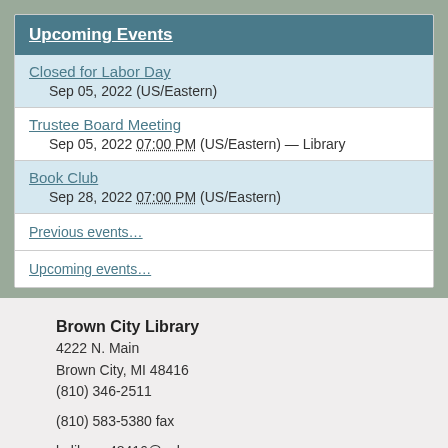Upcoming Events
Closed for Labor Day
Sep 05, 2022 (US/Eastern)
Trustee Board Meeting
Sep 05, 2022 07:00 PM (US/Eastern) — Library
Book Club
Sep 28, 2022 07:00 PM (US/Eastern)
Previous events…
Upcoming events…
Brown City Library
4222 N. Main
Brown City, MI 48416
(810) 346-2511

(810) 583-5380 fax

bclibrary48416@yahoo.com